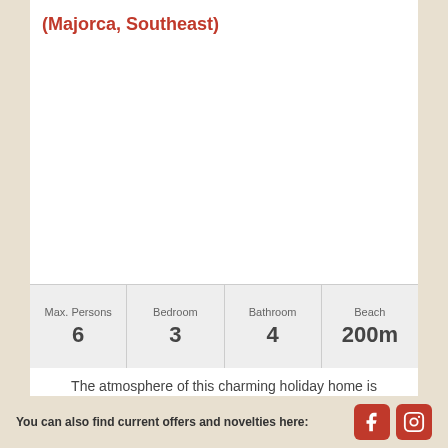(Majorca, Southeast)
[Figure (photo): White area representing property image placeholder]
| Max. Persons | Bedroom | Bathroom | Beach |
| --- | --- | --- | --- |
| 6 | 3 | 4 | 200m |
The atmosphere of this charming holiday home is uplifting and inspiring with open-aired spaces and
You can also find current offers and novelties here: